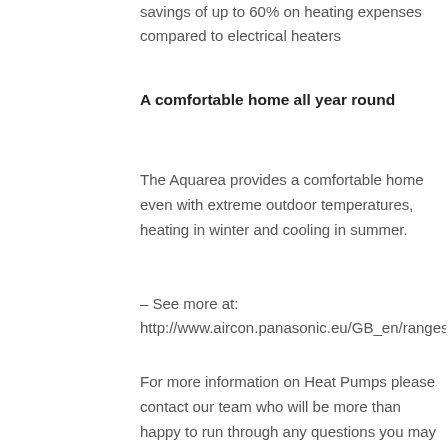savings of up to 60% on heating expenses compared to electrical heaters
A comfortable home all year round
The Aquarea provides a comfortable home even with extreme outdoor temperatures, heating in winter and cooling in summer.
– See more at:
http://www.aircon.panasonic.eu/GB_en/ranges/aquarea/
For more information on Heat Pumps please contact our team who will be more than happy to run through any questions you may have.